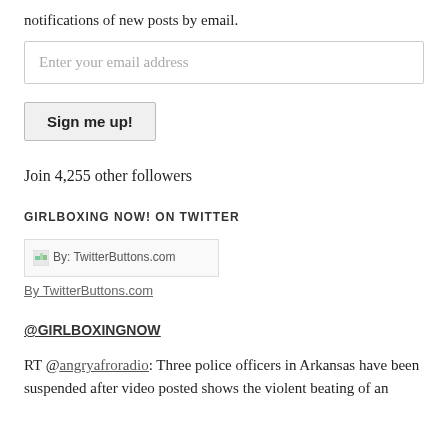notifications of new posts by email.
Enter your email address
Sign me up!
Join 4,255 other followers
GIRLBOXING NOW! ON TWITTER
[Figure (other): Twitter button image with alt text 'By: TwitterButtons.com']
By TwitterButtons.com
@GIRLBOXINGNOW
RT @angryafroradio: Three police officers in Arkansas have been suspended after video posted shows the violent beating of an